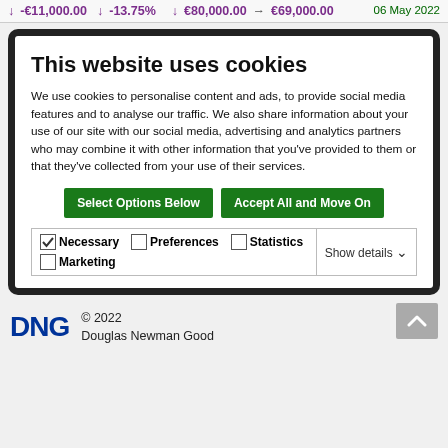↓ -€11,000.00   ↓ -13.75%   ↓ €80,000.00 → €69,000.00   06 May 2022
[Figure (screenshot): Cookie consent dialog on a dark tablet/monitor frame showing title 'This website uses cookies', body text about cookie usage, two green buttons ('Select Options Below' and 'Accept All and Move On'), and a checkbox row for Necessary, Preferences, Statistics, Marketing with Show details dropdown.]
This website uses cookies
We use cookies to personalise content and ads, to provide social media features and to analyse our traffic. We also share information about your use of our site with our social media, advertising and analytics partners who may combine it with other information that you've provided to them or that they've collected from your use of their services.
Select Options Below   Accept All and Move On
✓ Necessary   □ Preferences   □ Statistics   □ Marketing   Show details ∨
© 2022 Douglas Newman Good